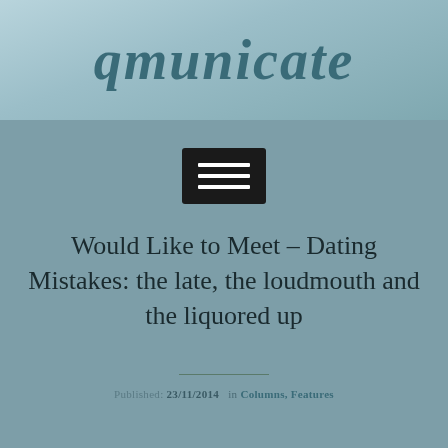[Figure (logo): qmunicate logo in hand-painted italic style on a light blue-grey gradient background]
[Figure (other): Hamburger menu button (three white horizontal lines on black rounded rectangle background)]
Would Like to Meet – Dating Mistakes: the late, the loudmouth and the liquored up
Published: 23/11/2014   in Columns, Features